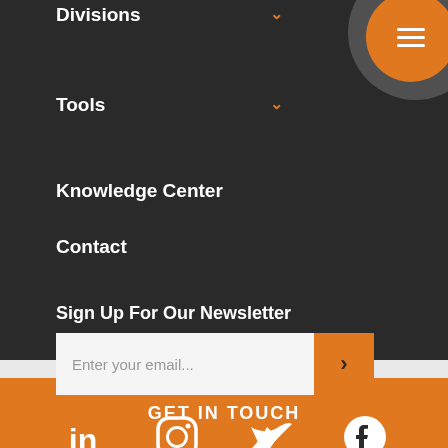Divisions
Tools
Knowledge Center
Contact
Sign Up For Our Newsletter
[Figure (screenshot): Email newsletter signup form with text input and orange submit button]
[Figure (infographic): Social media icons: LinkedIn, Instagram, Twitter, Facebook]
GET IN TOUCH